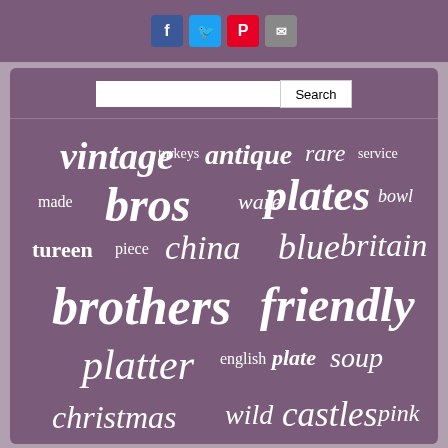[Figure (other): Social media share icons: Facebook, Twitter, Pinterest, Email]
[Figure (infographic): Word cloud on purple background with search bar. Words include: vintage, antique, rare, service, turkeys, bros, ware, plates, bowl, made, tureen, piece, china, blue, britain, brothers, friendly, platter, english, plate, soup, christmas, wild, castles, pink, serving, dinner, johnson, village, windsor, large, dinnerware, england, turkey, pieces]